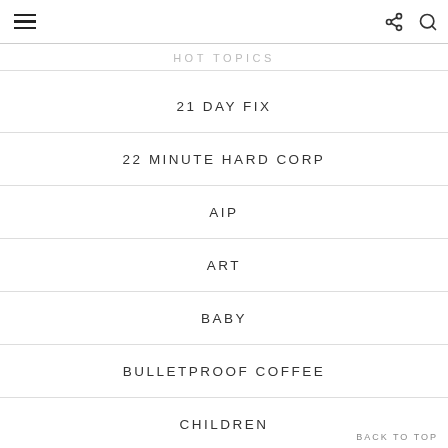HOT TOPICS
HOT TOPICS
21 DAY FIX
22 MINUTE HARD CORP
AIP
ART
BABY
BULLETPROOF COFFEE
CHILDREN
CHRISTMAS
BACK TO TOP